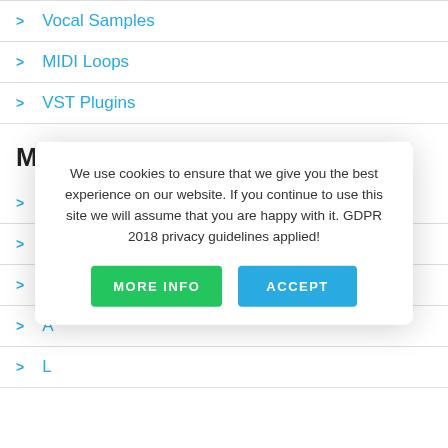> Vocal Samples
> MIDI Loops
> VST Plugins
MY ACCOUNT
> Log-in / Register
> My Orders
> M...
> A...
> L...
We use cookies to ensure that we give you the best experience on our website. If you continue to use this site we will assume that you are happy with it. GDPR 2018 privacy guidelines applied!
MORE INFO | ACCEPT